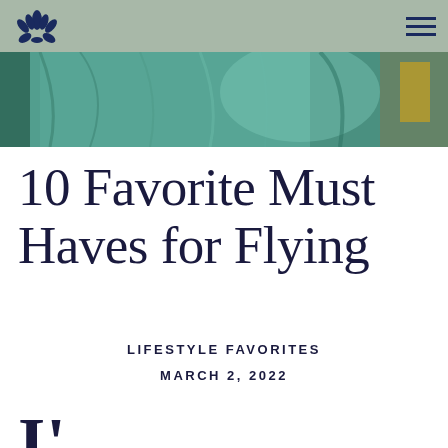[Figure (photo): Partial hero image showing teal/green fabric or curtain with yellow element visible at right edge]
10 Favorite Must Haves for Flying
LIFESTYLE FAVORITES
MARCH 2, 2022
I've lived abroad in many